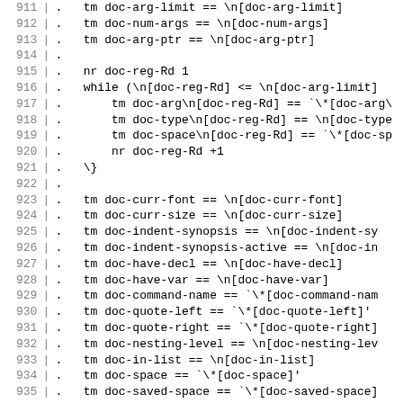Code listing lines 911–940 showing troff/groff macro definitions